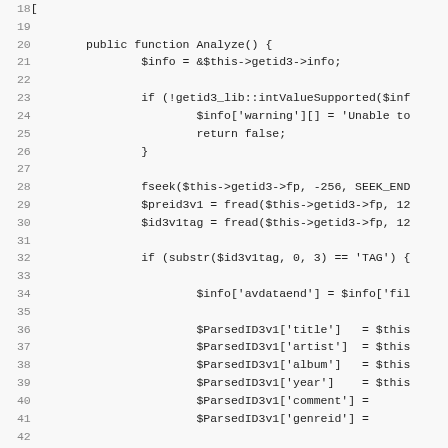[Figure (screenshot): PHP source code snippet showing lines 18-50 of a class method Analyze() that reads ID3v1 tags from an audio file. Code is displayed in a monospace font on a light gray background with line numbers in the left margin.]